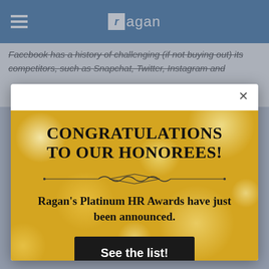ragan
Facebook has a history of challenging (if not buying out) its competitors, such as Snapchat, Twitter, Instagram and
[Figure (screenshot): Modal popup advertisement with gold bokeh background. Contains congratulations message for honorees of Ragan's Platinum HR Awards with a 'See the list!' call-to-action button.]
CONGRATULATIONS TO OUR HONOREES!
Ragan's Platinum HR Awards have just been announced.
See the list!